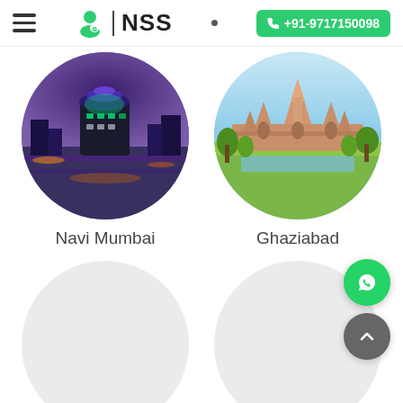NSS | +91-9717150098
[Figure (photo): Circular city image of Navi Mumbai showing illuminated buildings and highway at night with purple background]
Navi Mumbai
[Figure (photo): Circular city image of Ghaziabad showing Akshardham temple with light blue background]
Ghaziabad
[Figure (photo): Empty light gray circular placeholder image]
[Figure (photo): Empty light gray circular placeholder image]